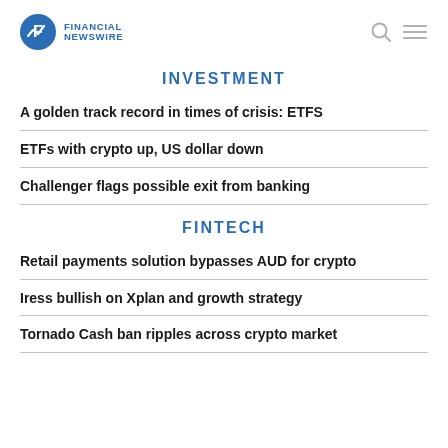FINANCIAL NEWSWIRE
INVESTMENT
A golden track record in times of crisis: ETFS
ETFs with crypto up, US dollar down
Challenger flags possible exit from banking
FINTECH
Retail payments solution bypasses AUD for crypto
Iress bullish on Xplan and growth strategy
Tornado Cash ban ripples across crypto market